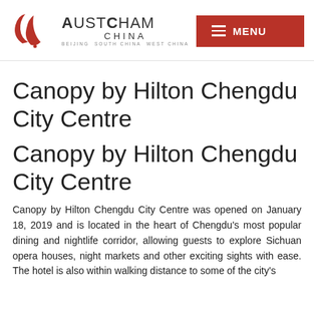[Figure (logo): AustCham China logo with red stylized flame/leaf shapes and text 'AustCham China, Beijing South China West China']
Canopy by Hilton Chengdu City Centre
Canopy by Hilton Chengdu City Centre
Canopy by Hilton Chengdu City Centre was opened on January 18, 2019 and is located in the heart of Chengdu's most popular dining and nightlife corridor, allowing guests to explore Sichuan opera houses, night markets and other exciting sights with ease. The hotel is also within walking distance to some of the city's